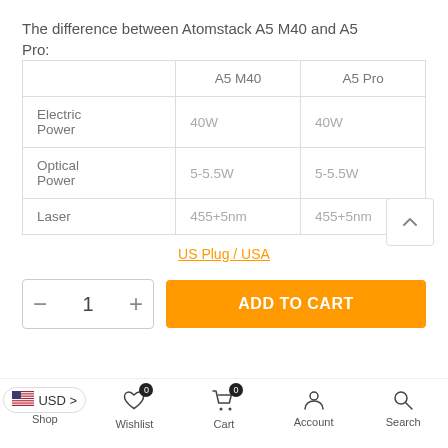The difference between Atomstack A5 M40 and A5 Pro:
|  | A5 M40 | A5 Pro |
| --- | --- | --- |
| Electric Power | 40W | 40W |
| Optical Power | 5-5.5W | 5-5.5W |
| Laser | 455+5nm | 455+5nm |
US Plug / USA
- 1 +  ADD TO CART
Shop  Wishlist 0  Cart 0  Account  Search